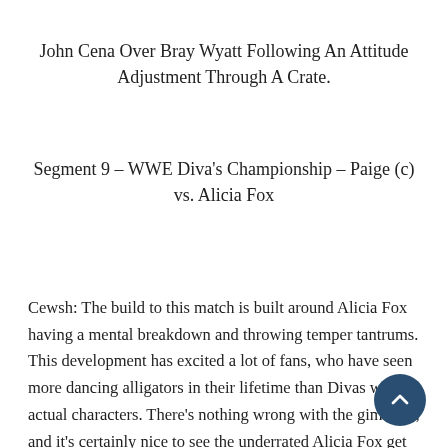John Cena Over Bray Wyatt Following An Attitude Adjustment Through A Crate.
Segment 9 – WWE Diva's Championship – Paige (c) vs. Alicia Fox
Cewsh: The build to this match is built around Alicia Fox having a mental breakdown and throwing temper tantrums. This development has excited a lot of fans, who have seen more dancing alligators in their lifetime than Divas with actual characters. There's nothing wrong with the gimmick, and it's certainly nice to see the underrated Alicia Fox get someth do, but for the second month in a row Paige is essentially gi PPV and talked for some something BUT her Cha ard